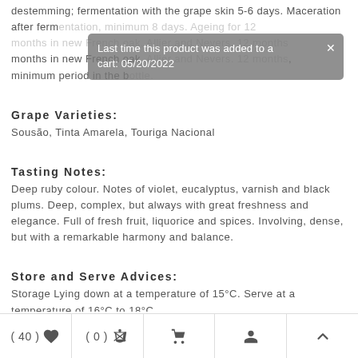destemming; fermentation with the grape skin 5-6 days. Maceration after fermentation, minimum 8 days. Ageing for 12 months in new French oak, Allier and Nevers. 12 months minimum period in the bottle.
Last time this product was added to a cart: 05/20/2022
Grape Varieties:
Sousão, Tinta Amarela, Touriga Nacional
Tasting Notes:
Deep ruby colour. Notes of violet, eucalyptus, varnish and black plums. Deep, complex, but always with great freshness and elegance. Full of fresh fruit, liquorice and spices. Involving, dense, but with a remarkable harmony and balance.
Store and Serve Advices:
Storage Lying down at a temperature of 15°C. Serve at a temperature of 16°C to 18°C.
Food Pairing:
Ideal to accompany spicy dishes and game meats.
( 40 ) ♥   ( 0 ) ⇌   🛒   👤   ∧